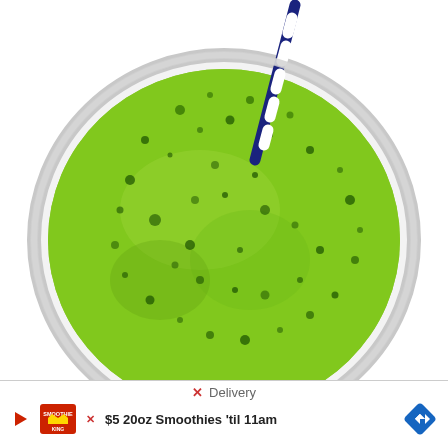[Figure (photo): Top-down view of a glass filled with bright green smoothie with dark green bubbles/flecks on the surface, a blue and white striped straw inserted, on a white background]
[Figure (screenshot): Advertisement banner at the bottom: shows an X close button, 'Delivery' text in gray, a Smoothies King logo with play button icon on the left, text '$5 20oz Smoothies til 11am', and a blue diamond navigation arrow icon on the right]